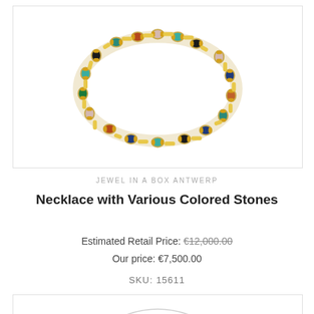[Figure (photo): A gold bracelet/necklace with various colored gemstone beads (turquoise, lapis lazuli, black, carnelian, rose quartz, malachite, etc.) set between gold cylindrical links, photographed on a white background.]
JEWEL IN A BOX ANTWERP
Necklace with Various Colored Stones
Estimated Retail Price: €12,000.00
Our price: €7,500.00
SKU: 15611
[Figure (photo): Partial view of another jewelry item — appears to show a necklace on a white background, partially cropped.]